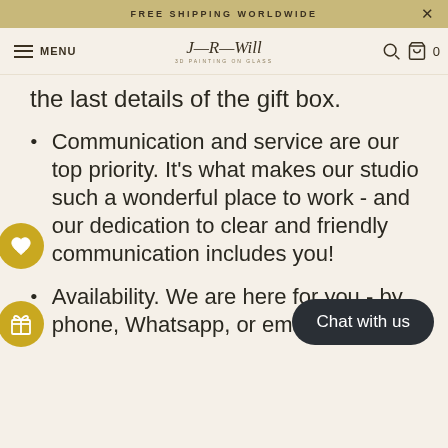FREE SHIPPING WORLDWIDE
MENU — [logo: 3D Painting on Glass]
the last details of the gift box.
Communication and service are our top priority. It's what makes our studio such a wonderful place to work - and our dedication to clear and friendly communication includes you!
Availability. We are here for you - by phone, Whatsapp, or email.